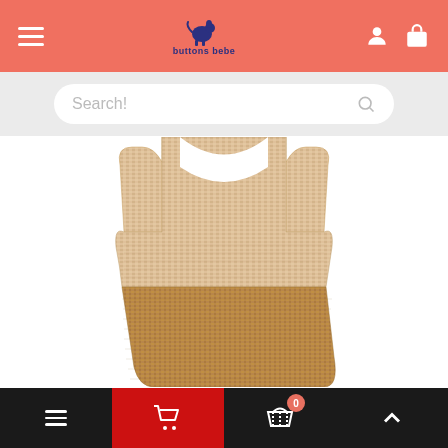buttons bebe - navigation header with hamburger menu, logo, user and cart icons
Search!
[Figure (photo): A sleeveless knitted baby romper/onesie with a tan/beige colorblock pattern. The upper portion is a lighter heathered knit and the lower portion is a darker caramel brown knit. It has wide shoulder straps and an open back.]
Bottom navigation bar with hamburger menu, cart (highlighted red), basket with badge showing 0, and up arrow